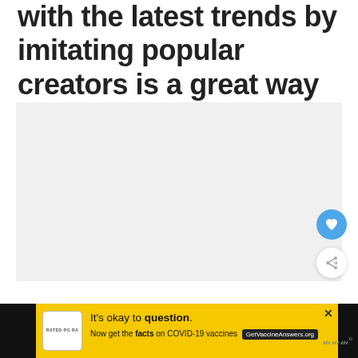with the latest trends by imitating popular creators is a great way to go.
[Figure (other): Large light gray image placeholder area]
[Figure (other): Yellow advertisement banner: It's okay to question. Now get the facts on COVID-19 vaccines. GetVaccineAnswers.org]